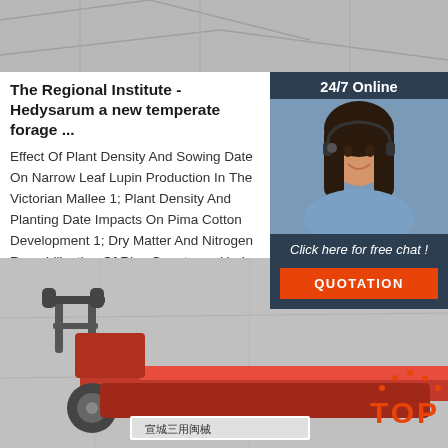[Figure (photo): Gray pavement/ground surface photo at top of page]
The Regional Institute - Hedysarum a new temperate forage ...
Effect Of Plant Density And Sowing Date On Narrow Leaf Lupin Production In The Victorian Mallee 1; Plant Density And Planting Date Impacts On Pima Cotton Development 1; Dry Matter And Nitrogen Remobilization Of Rice Genotypes Under Different Transplanting Dates 1; Seeding Rate And Date Of Sowing ... On Two Wheat Varieties In The Victorian ...
[Figure (infographic): 24/7 Online chat widget with female agent photo, dark navy background, orange QUOTATION button, and 'Click here for free chat!' text]
Get Price
[Figure (photo): Red agricultural/seeding machine (rotary tiller or planter) on gray pavement, with Chinese text label on front. Orange TOP button overlay in lower right corner.]